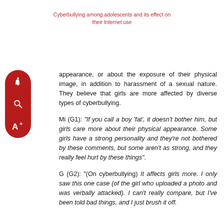Cyberbullying among adolescents and its effect on their Internet use
appearance, or about the exposure of their physical image, in addition to harassment of a sexual nature. They believe that girls are more affected by diverse types of cyberbullying.
Mi (G1): “If you call a boy ‘fat’, it doesn’t bother him, but girls care more about their physical appearance. Some girls have a strong personality and they’re not bothered by these comments, but some aren’t as strong, and they really feel hurt by these things”.
G (G2): “(On cyberbullying) It affects girls more. I only saw this one case (of the girl who uploaded a photo and was verbally attacked). I can’t really compare, but I’ve been told bad things, and I just brush it off.